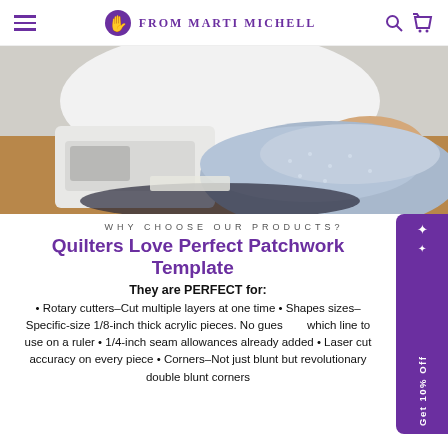From Marti Michell
[Figure (photo): A person in a white shirt sits at a sewing machine on a wooden table, with blue patterned fabric quilted material piled to the right.]
WHY CHOOSE OUR PRODUCTS?
Quilters Love Perfect Patchwork Templates
They are PERFECT for:
• Rotary cutters–Cut multiple layers at one time • Shapes sizes–Specific-size 1/8-inch thick acrylic pieces. No guessing which line to use on a ruler • 1/4-inch seam allowances already added • Laser cut accuracy on every piece • Corners–Not just blunt but revolutionary double blunt corners aimed for perfect alignment. Prevent identification